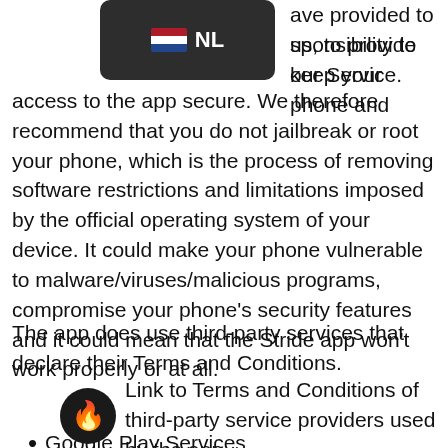[Figure (other): NL language selector badge with Dutch flag (red, white, blue horizontal stripes) and 'NL' text on dark background]
ave provided to us, to provide our Service. sponsibility to keep your phone and access to the app secure. We therefore recommend that you do not jailbreak or root your phone, which is the process of removing software restrictions and limitations imposed by the official operating system of your device. It could make your phone vulnerable to malware/viruses/malicious programs, compromise your phone's security features and it could mean that the Stride app won't work properly or at all.
The app does use third-party services that declare their Terms and Conditions.
Link to Terms and Conditions of third-party service providers used by the app
[Figure (other): Flame emoji icon on dark circular background]
Google Play Services